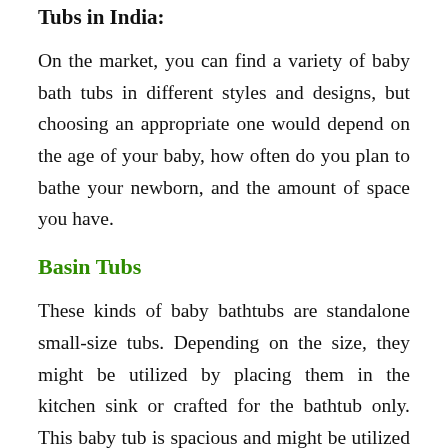Tubs in India:
On the market, you can find a variety of baby bath tubs in different styles and designs, but choosing an appropriate one would depend on the age of your baby, how often do you plan to bathe your newborn, and the amount of space you have.
Basin Tubs
These kinds of baby bathtubs are standalone small-size tubs. Depending on the size, they might be utilized by placing them in the kitchen sink or crafted for the bathtub only. This baby tub is spacious and might be utilized when the baby is less than 2 years old.